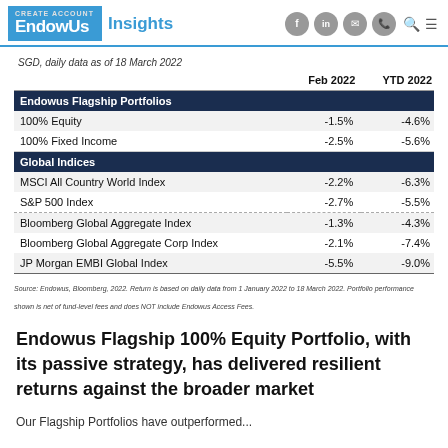EndowUs Insights
SGD, daily data as of 18 March 2022
|  | Feb 2022 | YTD 2022 |
| --- | --- | --- |
| Endowus Flagship Portfolios |  |  |
| 100% Equity | -1.5% | -4.6% |
| 100% Fixed Income | -2.5% | -5.6% |
| Global Indices |  |  |
| MSCI All Country World Index | -2.2% | -6.3% |
| S&P 500 Index | -2.7% | -5.5% |
| Bloomberg Global Aggregate Index | -1.3% | -4.3% |
| Bloomberg Global Aggregate Corp Index | -2.1% | -7.4% |
| JP Morgan EMBI Global Index | -5.5% | -9.0% |
Source: Endowus, Bloomberg, 2022. Return is based on daily data from 1 January 2022 to 18 March 2022. Portfolio performance shown is net of fund-level fees and does NOT include Endowus Access Fees.
Endowus Flagship 100% Equity Portfolio, with its passive strategy, has delivered resilient returns against the broader market
Our Flagship Portfolios have outperformed...